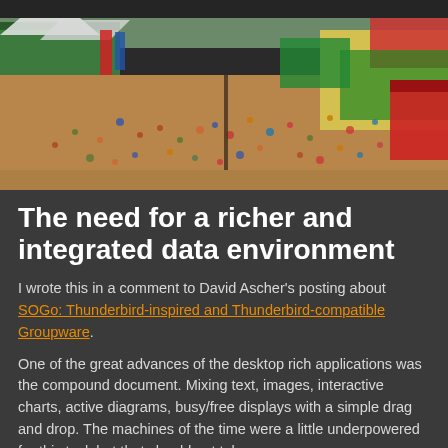[Figure (photo): Aerial/elevated view of a crowded outdoor fair or festival with many people walking on a dirt/sand ground, colorful tents and stalls on both sides including green and white tents on the left, yellow and red structures on the right, and colorful banners/signs visible.]
The need for a richer and integrated data environment
I wrote this in a comment to David Ascher's posting about SOGo: Thunderbird-inspired and Thunderbird-compatible Groupware.
One of the great advances of the desktop rich applications was the compound document. Mixing text, images, interactive charts, active diagrams, busy/free displays with a simple drag and drop. The machines of the time were a little underpowered for this task but that should not take away